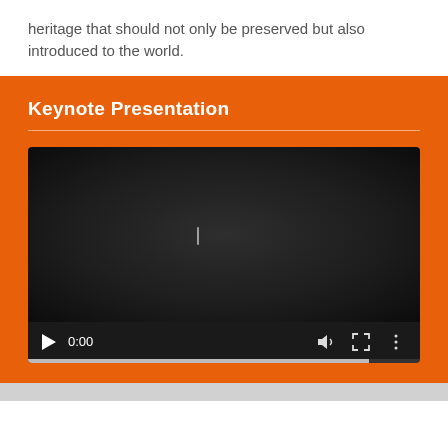heritage that should not only be preserved but also introduced to the world.
Keynote Presentation
[Figure (screenshot): Embedded video player showing a dark/black screen at 0:00 with play button, volume, fullscreen, and more options controls at the bottom, and a progress bar.]